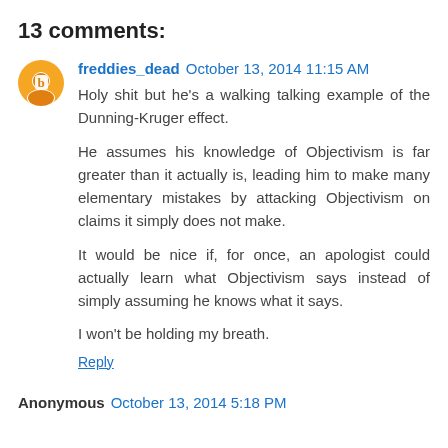13 comments:
freddies_dead October 13, 2014 11:15 AM
Holy shit but he's a walking talking example of the Dunning-Kruger effect.

He assumes his knowledge of Objectivism is far greater than it actually is, leading him to make many elementary mistakes by attacking Objectivism on claims it simply does not make.

It would be nice if, for once, an apologist could actually learn what Objectivism says instead of simply assuming he knows what it says.

I won't be holding my breath.

Reply
Anonymous October 13, 2014 5:18 PM